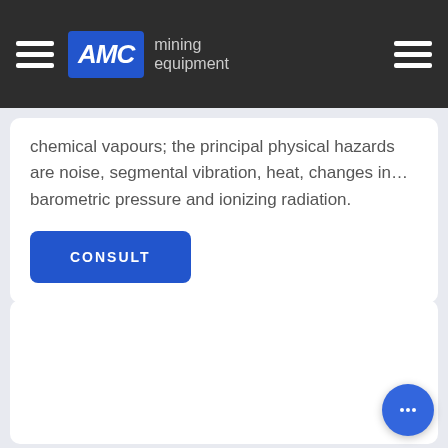AMC mining equipment
chemical vapours; the principal physical hazards are noise, segmental vibration, heat, changes in... barometric pressure and ionizing radiation.
CONSULT
[Figure (other): Empty white content card area below consult button]